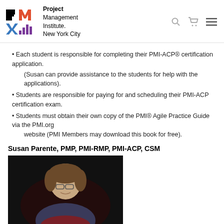Project Management Institute. New York City
Each student is responsible for completing their PMI-ACP® certification application.
(Susan can provide assistance to the students for help with the applications).
Students are responsible for paying for and scheduling their PMI-ACP certification exam.
Students must obtain their own copy of the PMI® Agile Practice Guide via the PMI.org website (PMI Members may download this book for free).
Susan Parente, PMP, PMI-RMP, PMI-ACP, CSM
[Figure (photo): Portrait photo of Susan Parente against a dark background]